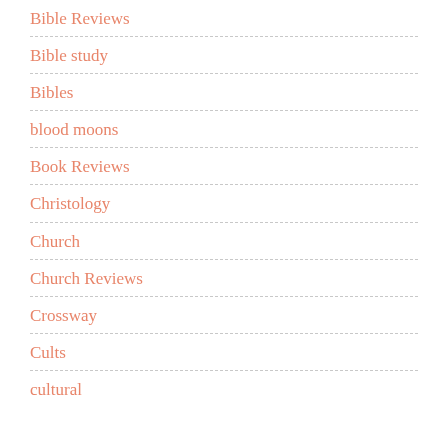Bible Reviews
Bible study
Bibles
blood moons
Book Reviews
Christology
Church
Church Reviews
Crossway
Cults
cultural